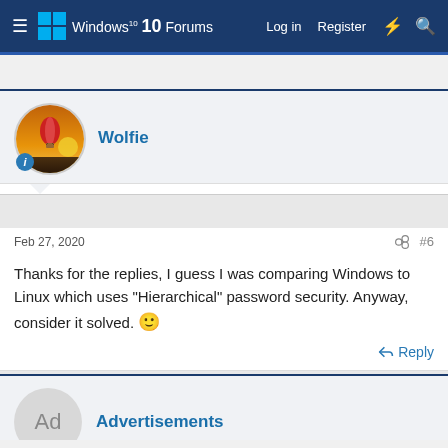Windows 10 Forums  Log in  Register
[Figure (screenshot): Forum post by Wolfie with avatar showing a hot air balloon at sunset]
Feb 27, 2020  #6
Thanks for the replies, I guess I was comparing Windows to Linux which uses "Hierarchical" password security. Anyway, consider it solved. 🙂
↩ Reply
Advertisements